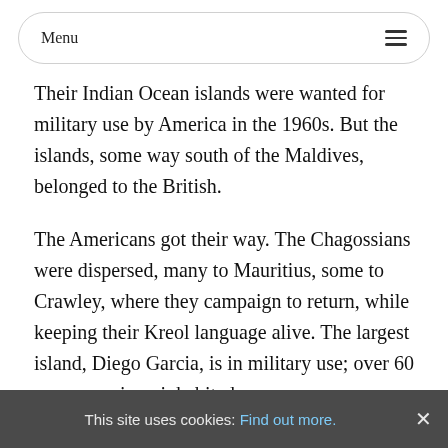Menu
Their Indian Ocean islands were wanted for military use by America in the 1960s. But the islands, some way south of the Maldives, belonged to the British.
The Americans got their way. The Chagossians were dispersed, many to Mauritius, some to Crawley, where they campaign to return, while keeping their Kreol language alive. The largest island, Diego Garcia, is in military use; over 60 more remain uninhabited.
Cardboard Citizens, working with homeless people, have already considered military use of a homeless
This site uses cookies: Find out more. ×